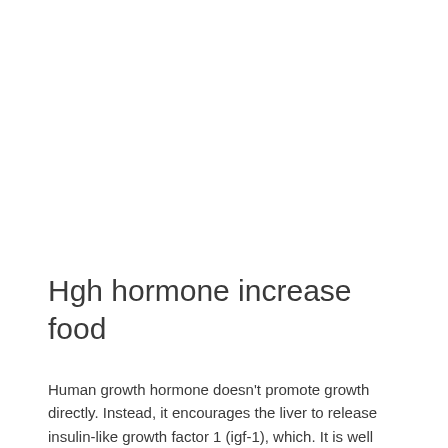Hgh hormone increase food
Human growth hormone doesn't promote growth directly. Instead, it encourages the liver to release insulin-like growth factor 1 (igf-1), which. It is well established that growth hormone (gh) is key to growth at